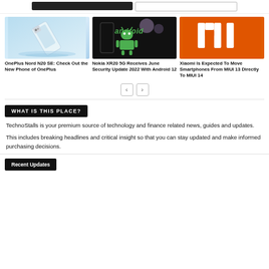[Figure (screenshot): Navigation bar with dark search box and light search box]
[Figure (photo): OnePlus Nord N20 SE smartphone floating above water on light blue background]
OnePlus Nord N20 SE: Check Out the New Phone of OnePlus
[Figure (photo): Android robot mascot with green text 'android' on dark background]
Nokia XR20 5G Receives June Security Update 2022 With Android 12
[Figure (logo): Xiaomi MI logo white on orange background]
Xiaomi Is Expected To Move Smartphones From MIUI 13 Directly To MIUI 14
WHAT IS THIS PLACE?
TechnoStalls is your premium source of technology and finance related news, guides and updates.
This includes breaking headlines and critical insight so that you can stay updated and make informed purchasing decisions.
Recent Updates